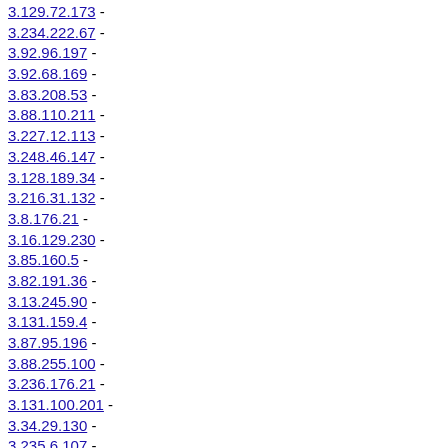3.129.72.173 -
3.234.222.67 -
3.92.96.197 -
3.92.68.169 -
3.83.208.53 -
3.88.110.211 -
3.227.12.113 -
3.248.46.147 -
3.128.189.34 -
3.216.31.132 -
3.8.176.21 -
3.16.129.230 -
3.85.160.5 -
3.82.191.36 -
3.13.245.90 -
3.131.159.4 -
3.87.95.196 -
3.88.255.100 -
3.236.176.21 -
3.131.100.201 -
3.34.29.130 -
3.235.6.107 -
3.235.28.129 -
3.34.116.217 -
3.0.155.0 -
3.216.71.172 -
3.84.3.104 -
3.18.111.212 -
3.13.241.86 -
3.18.100.201 -